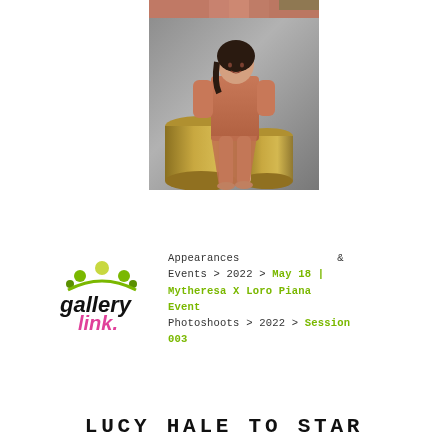[Figure (photo): Top sliver of a photo showing a person in coral/terra cotta outfit]
[Figure (photo): Woman with dark hair sitting on golden cylindrical objects, wearing a coral/terra cotta long-sleeve dress or outfit, against a grey concrete background]
[Figure (logo): Gallery Link logo with crown and colorful text]
Appearances & Events > 2022 > May 18 | Mytheresa X Loro Piana Event
Photoshoots > 2022 > Session 003
LUCY HALE TO STAR